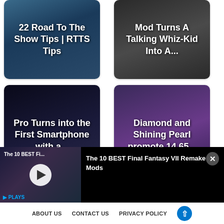[Figure (screenshot): Article thumbnail card: '22 Road To The Show Tips | RTTS Tips' over dark sports game background]
[Figure (screenshot): Article thumbnail card: 'Mod Turns A Talking Whiz-Kid Into A...' over dark background]
[Figure (screenshot): Article thumbnail card: 'Pro Turns into the First Smartphone with a...' over dark tech background]
[Figure (screenshot): Article thumbnail card: 'Diamond and Shining Pearl promote 14.65...' over Pokemon game background]
[Figure (screenshot): Video player bar: 'The 10 BEST Fi...' thumbnail with play button, title 'The 10 BEST Final Fantasy VII Remake Mods']
ABOUT US   CONTACT US   PRIVACY POLICY